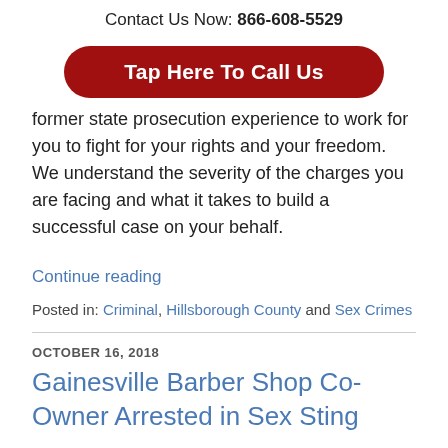Contact Us Now: 866-608-5529
[Figure (other): Red rounded-rectangle button with white bold text: Tap Here To Call Us]
former state prosecution experience to work for you to fight for your rights and your freedom. We understand the severity of the charges you are facing and what it takes to build a successful case on your behalf.
Continue reading
Posted in: Criminal, Hillsborough County and Sex Crimes
OCTOBER 16, 2018
Gainesville Barber Shop Co-Owner Arrested in Sex Sting